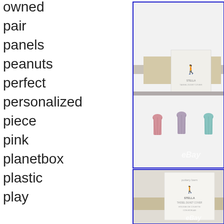owned
pair
panels
peanuts
perfect
personalized
piece
pink
planetbox
plastic
play
[Figure (photo): White tassel duvet cover with colorful tassels (pink, purple, teal) and a product label, eBay watermark visible]
[Figure (photo): Close-up of product label for Pottery Barn Stella Tassel Duvet Cover, eBay watermark visible]